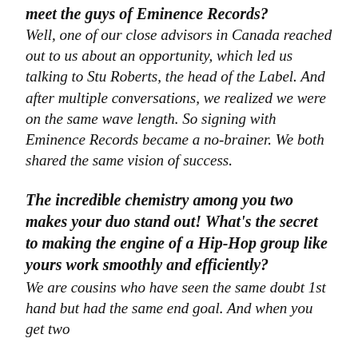meet the guys of Eminence Records? Well, one of our close advisors in Canada reached out to us about an opportunity, which led us talking to Stu Roberts, the head of the Label. And after multiple conversations, we realized we were on the same wave length. So signing with Eminence Records became a no-brainer. We both shared the same vision of success.
The incredible chemistry among you two makes your duo stand out! What's the secret to making the engine of a Hip-Hop group like yours work smoothly and efficiently? We are cousins who have seen the same doubt 1st hand but had the same end goal. And when you get two...